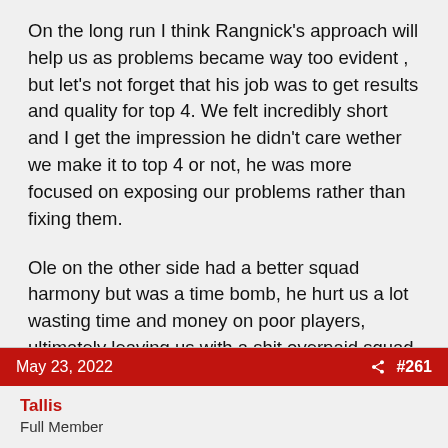On the long run I think Rangnick's approach will help us as problems became way too evident , but let's not forget that his job was to get results and quality for top 4. We felt incredibly short and I get the impression he didn't care wether we make it to top 4 or not, he was more focused on exposing our problems rather than fixing them.
Ole on the other side had a better squad harmony but was a time bomb, he hurt us a lot wasting time and money on poor players, ultimately leaving us with a shit overpaid squad of entitled over hyped weak mentality players.
May 23, 2022  #261
Tallis
Full Member